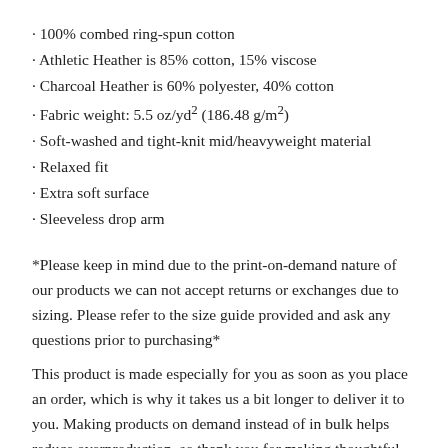100% combed ring-spun cotton
Athletic Heather is 85% cotton, 15% viscose
Charcoal Heather is 60% polyester, 40% cotton
Fabric weight: 5.5 oz/yd² (186.48 g/m²)
Soft-washed and tight-knit mid/heavyweight material
Relaxed fit
Extra soft surface
Sleeveless drop arm
*Please keep in mind due to the print-on-demand nature of our products we can not accept returns or exchanges due to sizing. Please refer to the size guide provided and ask any questions prior to purchasing*
This product is made especially for you as soon as you place an order, which is why it takes us a bit longer to deliver it to you. Making products on demand instead of in bulk helps reduce overproduction, so thank you for making thoughtful